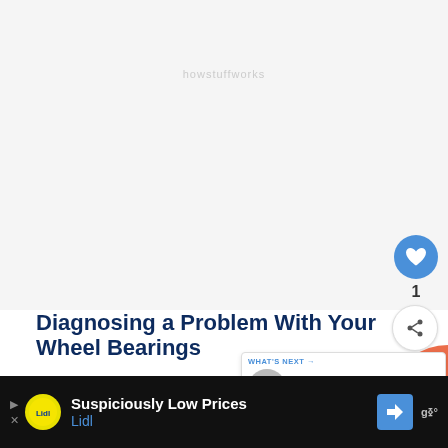[Figure (photo): Gray placeholder area for an image at the top of the page]
Diagnosing a Problem With Your Wheel Bearings
If one or more of your wheel bearings
[Figure (other): WHAT'S NEXT panel with thumbnail and text: Jeep Liberty Wheel Beari...]
[Figure (other): Advertisement bar at the bottom: Lidl - Suspiciously Low Prices]